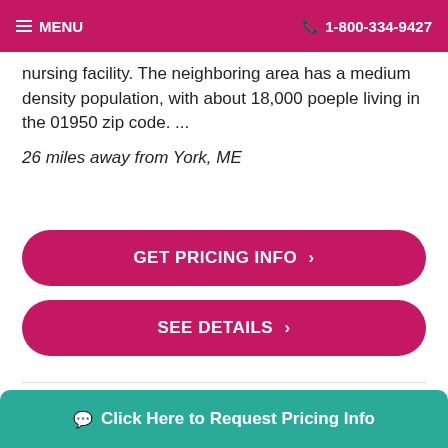MENU   1-800-334-9427
nursing facility. The neighboring area has a medium density population, with about 18,000 poeple living in the 01950 zip code. ...
26 miles away from York, ME
GET PRICING INFO >
SEE DETAILS >
[Figure (photo): Exterior photo of a facility building with a sign reading SOUTHHAVEN, brown frame border, building visible with trees in background]
Click Here to Request Pricing Info